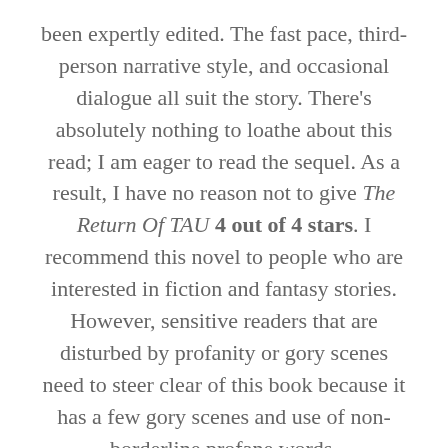been expertly edited. The fast pace, third-person narrative style, and occasional dialogue all suit the story. There's absolutely nothing to loathe about this read; I am eager to read the sequel. As a result, I have no reason not to give The Return Of TAU 4 out of 4 stars. I recommend this novel to people who are interested in fiction and fantasy stories. However, sensitive readers that are disturbed by profanity or gory scenes need to steer clear of this book because it has a few gory scenes and use of non-borderline profane words.